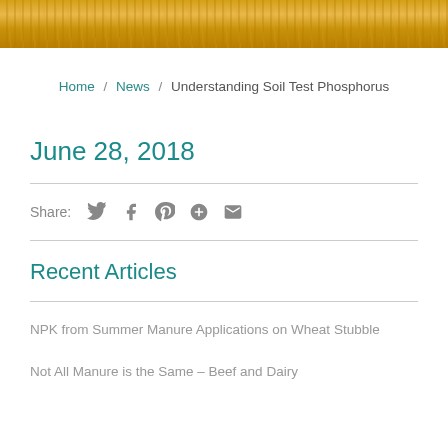[Figure (photo): Golden wheat field header image]
Home / News / Understanding Soil Test Phosphorus
June 28, 2018
Share:
Recent Articles
NPK from Summer Manure Applications on Wheat Stubble
Not All Manure is the Same – Beef and Dairy